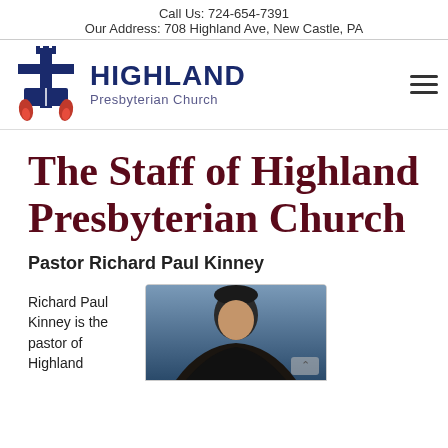Call Us: 724-654-7391
Our Address: 708 Highland Ave, New Castle, PA
[Figure (logo): Highland Presbyterian Church logo with cross, flame, and book symbols in navy blue and red]
The Staff of Highland Presbyterian Church
Pastor Richard Paul Kinney
Richard Paul Kinney is the pastor of Highland
[Figure (photo): Portrait photo of Pastor Richard Paul Kinney against a blue-gray background]